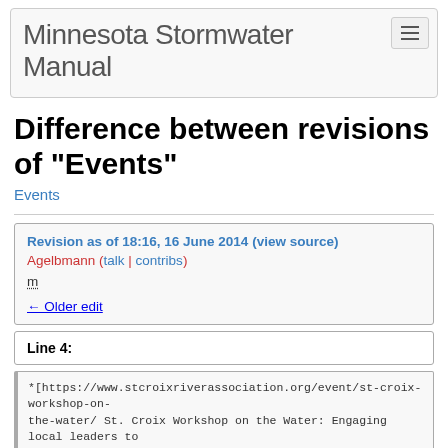Minnesota Stormwater Manual
Difference between revisions of "Events"
Events
Revision as of 18:16, 16 June 2014 (view source)
Agelbmann (talk | contribs)
m
← Older edit
Line 4:
*[https://www.stcroixriverassociation.org/event/st-croix-workshop-on-the-water/ St. Croix Workshop on the Water: Engaging local leaders to